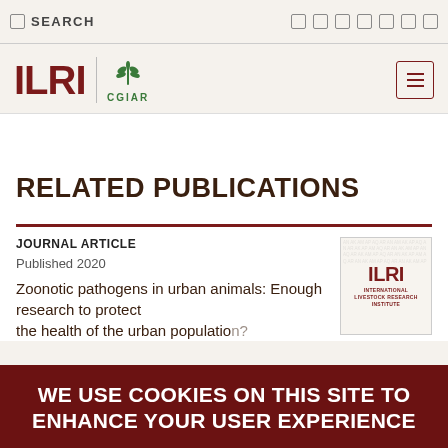SEARCH
[Figure (logo): ILRI CGIAR logo with wheat icon]
RELATED PUBLICATIONS
JOURNAL ARTICLE
Published 2020
Zoonotic pathogens in urban animals: Enough research to protect the health of the urban population?
[Figure (logo): ILRI International Livestock Research Institute thumbnail]
WE USE COOKIES ON THIS SITE TO ENHANCE YOUR USER EXPERIENCE